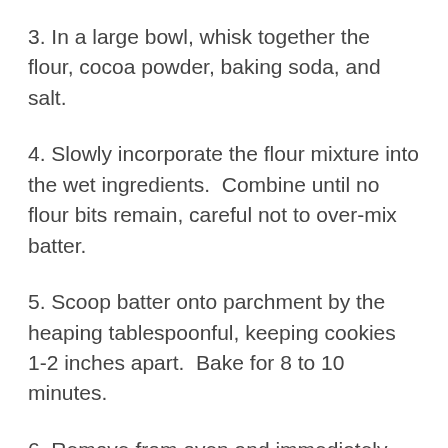3. In a large bowl, whisk together the flour, cocoa powder, baking soda, and salt.
4. Slowly incorporate the flour mixture into the wet ingredients.  Combine until no flour bits remain, careful not to over-mix batter.
5. Scoop batter onto parchment by the heaping tablespoonful, keeping cookies 1-2 inches apart.  Bake for 8 to 10 minutes.
6. Remove from oven and immediately transfer hot cookies (still on parchment) onto a cooling rack or